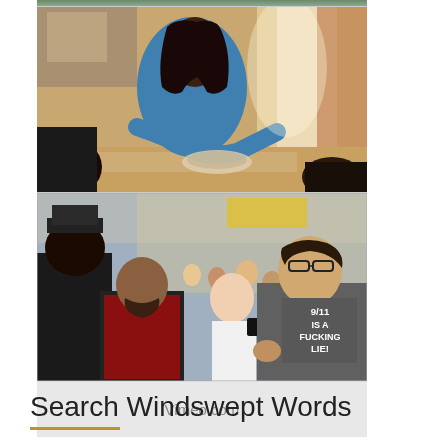[Figure (photo): Indoor scene: woman in blue top leaning over a table, preparing food, with other people around her in a warmly lit room]
[Figure (photo): Outdoor crowd scene: a man in a gray t-shirt reading '9/11 IS A FUCKING LIE!' speaking, surrounded by a large crowd on a city street]
Vimeo.com
Search Windswept Words